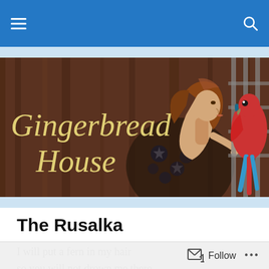Navigation bar with hamburger menu and search icon
[Figure (illustration): Banner image for 'Gingerbread House' literary blog. Dark warm brown wooden background with a medieval/pre-Raphaelite painting of a woman with dark hair leaning close to a macaw parrot in a cage. Text overlay in cream/gold italic serif font reads 'Gingerbread House'.]
The Rusalka
I will put a fern in my hair
so you will not drown me there.

“It is not a drowning
it is to live with.” you purled